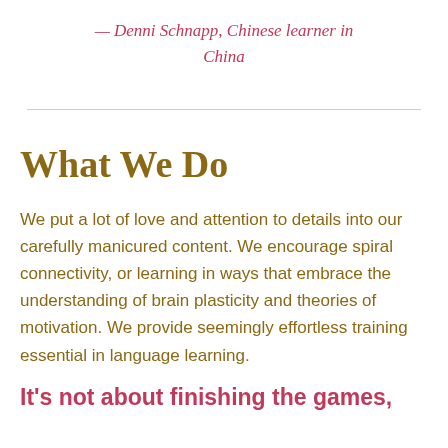— Denni Schnapp, Chinese learner in China
What We Do
We put a lot of love and attention to details into our carefully manicured content. We encourage spiral connectivity, or learning in ways that embrace the understanding of brain plasticity and theories of motivation. We provide seemingly effortless training essential in language learning.
It's not about finishing the games,